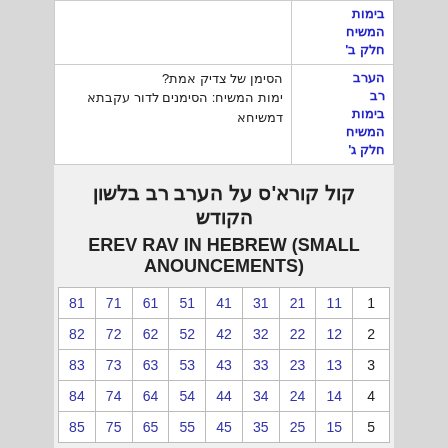| בימות המשיח חלק ב' |  |
| הערב רב בימות המשיח חלק ג' | הסימן של צדיק אמת?
ימות המשיח: הסימנים לדור עקבתא דמשיחא |
קול קורא'ס על הערב רב בלשון הקודש
EREV RAV IN HEBREW (SMALL ANOUNCEMENTS)
| 81 | 71 | 61 | 51 | 41 | 31 | 21 | 11 | 1 |
| 82 | 72 | 62 | 52 | 42 | 32 | 22 | 12 | 2 |
| 83 | 73 | 63 | 53 | 43 | 33 | 23 | 13 | 3 |
| 84 | 74 | 64 | 54 | 44 | 34 | 24 | 14 | 4 |
| 85 | 75 | 65 | 55 | 45 | 35 | 25 | 15 | 5 |